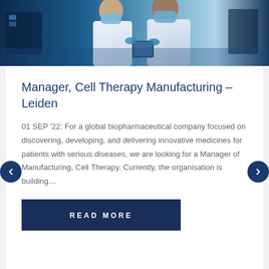[Figure (photo): Two scientists or lab technicians in white lab coats and blue surgical masks working in a laboratory setting, one holding a tablet]
Manager, Cell Therapy Manufacturing – Leiden
01 SEP '22: For a global biopharmaceutical company focused on discovering, developing, and delivering innovative medicines for patients with serious diseases, we are looking for a Manager of Manufacturing, Cell Therapy. Currently, the organisation is building…
READ MORE